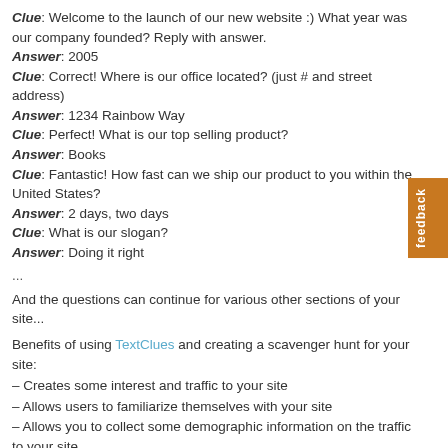Clue: Welcome to the launch of our new website :) What year was our company founded? Reply with answer.
Answer: 2005
Clue: Correct! Where is our office located? (just # and street address)
Answer: 1234 Rainbow Way
Clue: Perfect! What is our top selling product?
Answer: Books
Clue: Fantastic! How fast can we ship our product to you within the United States?
Answer: 2 days, two days
Clue: What is our slogan?
Answer: Doing it right
...
And the questions can continue for various other sections of your site...
Benefits of using TextClues and creating a scavenger hunt for your site:
– Creates some interest and traffic to your site
– Allows users to familiarize themselves with your site
– Allows you to collect some demographic information on the traffic to your site